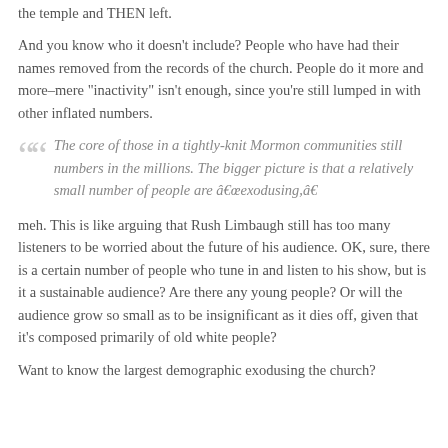the temple and THEN left.
And you know who it doesn’t include? People who have had their names removed from the records of the church. People do it more and more–mere “inactivity” isn’t enough, since you’re still lumped in with other inflated numbers.
The core of those in a tightly-knit Mormon communities still numbers in the millions. The bigger picture is that a relatively small number of people are â€œexodusing,â€
meh. This is like arguing that Rush Limbaugh still has too many listeners to be worried about the future of his audience. OK, sure, there is a certain number of people who tune in and listen to his show, but is it a sustainable audience? Are there any young people? Or will the audience grow so small as to be insignificant as it dies off, given that it’s composed primarily of old white people?
Want to know the largest demographic exodusing the church?